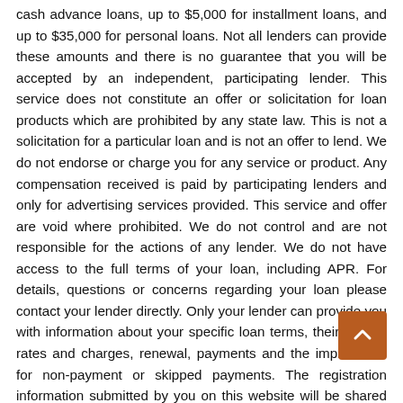cash advance loans, up to $5,000 for installment loans, and up to $35,000 for personal loans. Not all lenders can provide these amounts and there is no guarantee that you will be accepted by an independent, participating lender. This service does not constitute an offer or solicitation for loan products which are prohibited by any state law. This is not a solicitation for a particular loan and is not an offer to lend. We do not endorse or charge you for any service or product. Any compensation received is paid by participating lenders and only for advertising services provided. This service and offer are void where prohibited. We do not control and are not responsible for the actions of any lender. We do not have access to the full terms of your loan, including APR. For details, questions or concerns regarding your loan please contact your lender directly. Only your lender can provide you with information about your specific loan terms, their current rates and charges, renewal, payments and the implications for non-payment or skipped payments. The registration information submitted by you on this website will be shared with one or more participating lenders. You are under no obligation to use our service to initiate contact with a lender, register for credit or any loan product, or accept a loan from a participating lender. Cash transfer times and repayment terms vary between lenders. Repayment terms may be regulated by state and local laws. Some faxing may be required. Be sure to review our FAQs for